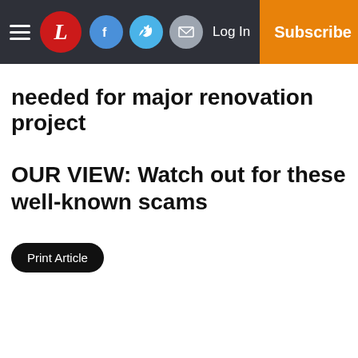L [logo] | Facebook | Twitter | Email | Log In | Subscribe
needed for major renovation project
OUR VIEW: Watch out for these well-known scams
Print Article